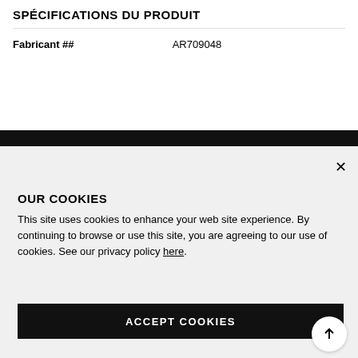SPÉCIFICATIONS DU PRODUIT
| Fabricant ## | AR709048 |
| --- | --- |
OUR COOKIES
This site uses cookies to enhance your web site experience. By continuing to browse or use this site, you are agreeing to our use of cookies. See our privacy policy here.
ACCEPT COOKIES